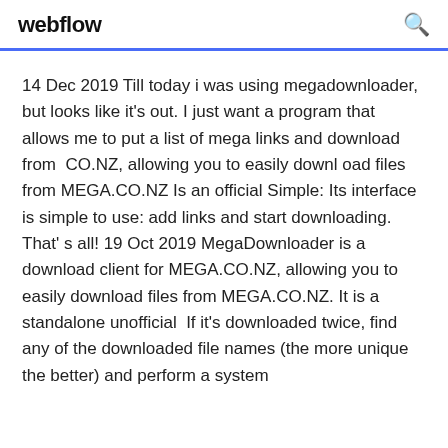webflow
14 Dec 2019 Till today i was using megadownloader, but looks like it's out. I just want a program that allows me to put a list of mega links and download from  CO.NZ, allowing you to easily downl oad files from MEGA.CO.NZ Is an official Simple: Its interface is simple to use: add links and start downloading. That' s all! 19 Oct 2019 MegaDownloader is a download client for MEGA.CO.NZ, allowing you to easily download files from MEGA.CO.NZ. It is a standalone unofficial  If it's downloaded twice, find any of the downloaded file names (the more unique the better) and perform a system